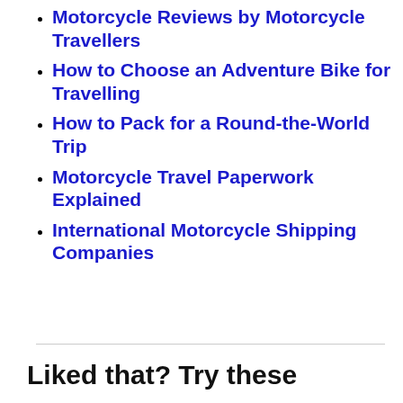Motorcycle Reviews by Motorcycle Travellers
How to Choose an Adventure Bike for Travelling
How to Pack for a Round-the-World Trip
Motorcycle Travel Paperwork Explained
International Motorcycle Shipping Companies
Liked that? Try these